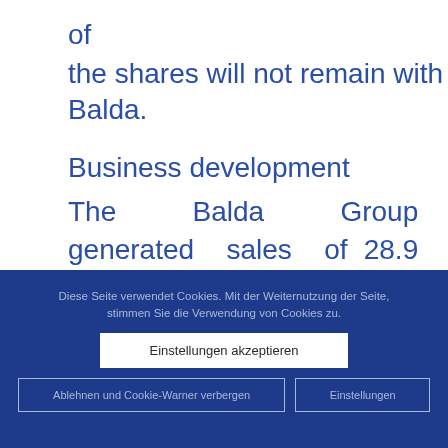of
the shares will not remain with Balda.
Business development
The Balda Group generated sales of 28.9 million Euros in the first half of 2011 in continued operations, compared to
Diese Seite verwendet Cookies. Mit der Weiternutzung der Seite, stimmen Sie die Verwendung von Cookies zu.
Einstellungen akzeptieren
Ablehnen und Cookie-Warner verbergen
Einstellungen